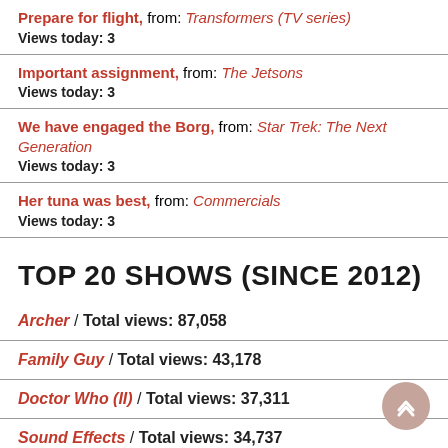Prepare for flight, from: Transformers (TV series)
Views today: 3
Important assignment, from: The Jetsons
Views today: 3
We have engaged the Borg, from: Star Trek: The Next Generation
Views today: 3
Her tuna was best, from: Commercials
Views today: 3
TOP 20 SHOWS (SINCE 2012)
Archer / Total views: 87,058
Family Guy / Total views: 43,178
Doctor Who (II) / Total views: 37,311
Sound Effects / Total views: 34,737
The Big Bang Theory / Total views: 33,517